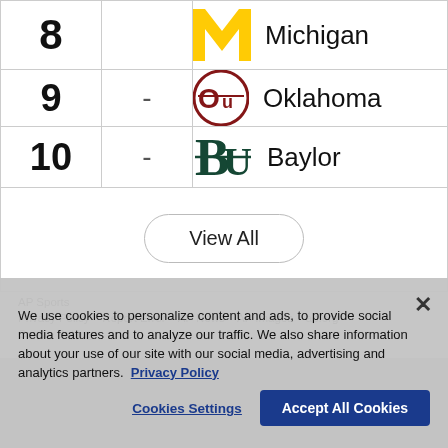| Rank | Change | Team |
| --- | --- | --- |
| 8 | - | Michigan |
| 9 | - | Oklahoma |
| 10 | - | Baylor |
View All
We use cookies to personalize content and ads, to provide social media features and to analyze our traffic. We also share information about your use of our site with our social media, advertising and analytics partners. Privacy Policy
Cookies Settings
Accept All Cookies